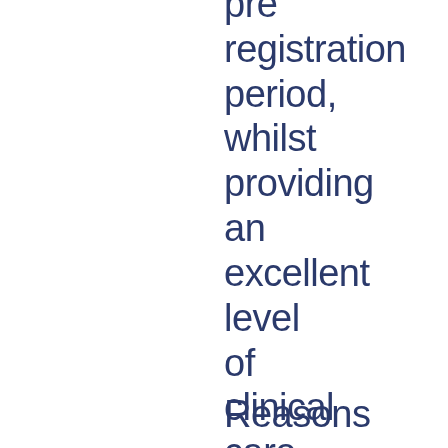pre registration period, whilst providing an excellent level of clinical care to your patients.
Reasons to